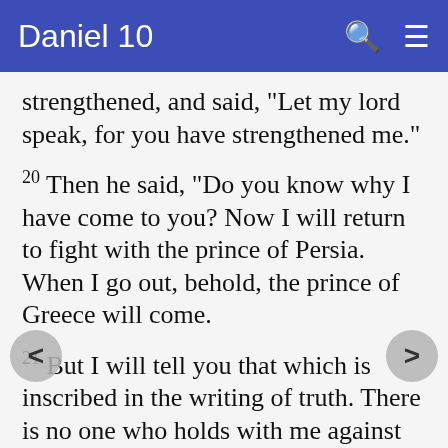Daniel 10
strengthened, and said, "Let my lord speak, for you have strengthened me."
20 Then he said, "Do you know why I have come to you? Now I will return to fight with the prince of Persia. When I go out, behold, the prince of Greece will come.
21 But I will tell you that which is inscribed in the writing of truth. There is no one who holds with me against these but Michael your prince.